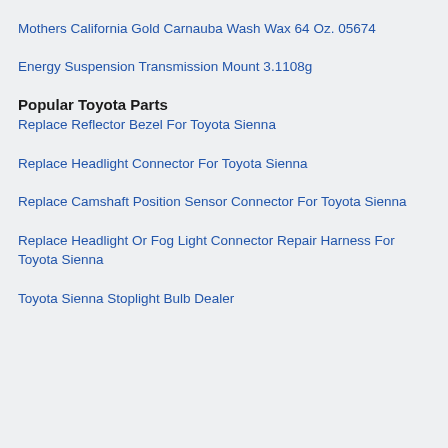Mothers California Gold Carnauba Wash Wax 64 Oz. 05674
Energy Suspension Transmission Mount 3.1108g
Popular Toyota Parts
Replace Reflector Bezel For Toyota Sienna
Replace Headlight Connector For Toyota Sienna
Replace Camshaft Position Sensor Connector For Toyota Sienna
Replace Headlight Or Fog Light Connector Repair Harness For Toyota Sienna
Toyota Sienna Stoplight Bulb Dealer